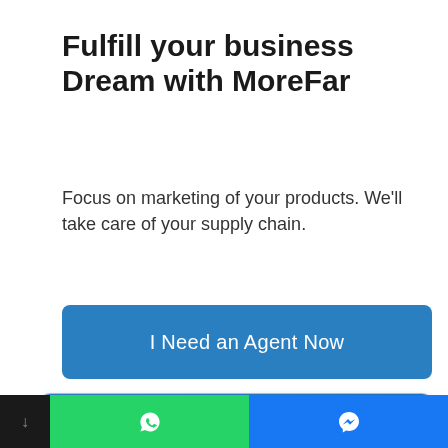Fulfill your business Dream with MoreFar
Focus on marketing of your products. We'll take care of your supply chain.
I Need an Agent Now
1. Consolidation abilities
We can have ability to Consolidate your 100+ different suppliers and arrange the shippment properly